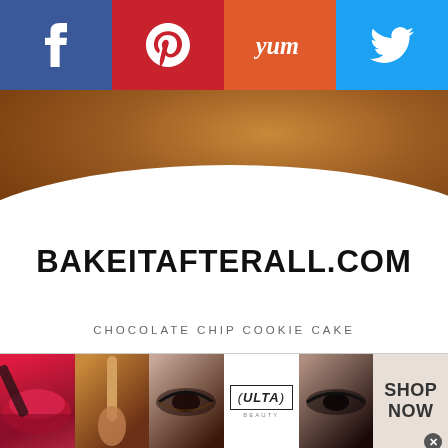[Figure (screenshot): Social sharing bar with four buttons: Facebook (blue), Pinterest (red), Yummly (orange), Twitter (light blue), each with white icon]
[Figure (photo): Hero image of bakeitafterall.com: close-up of a chocolate chip cookie cake on a white plate with bold text 'BAKEITAFTERALL.COM']
CHOCOLATE CHIP COOKIE CAKE
CATEGORIES
[Figure (screenshot): Select Category dropdown widget]
[Figure (infographic): Ulta beauty advertisement banner strip with multiple beauty images and SHOP NOW call to action]